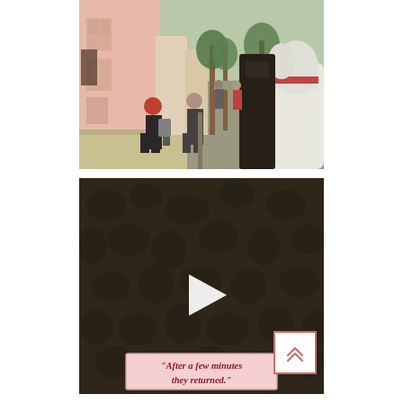[Figure (photo): Street scene photo showing pedestrians walking along a sidewalk beside a pink building. A woman with red hair and a backpack walks away from the camera. A white horse with red and white harness is visible on the right side, part of a carriage. Trees and buildings line the street in the background.]
[Figure (screenshot): Video thumbnail with dark brown textured background resembling wet or patterned surface. A white play button triangle is centered. At the bottom, a pink caption box reads: 'After a few minutes they returned.' A small box with an upward double-chevron arrow is in the bottom right corner.]
“After a few minutes they returned.”